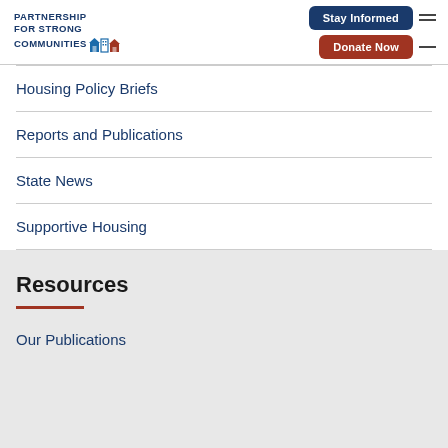PARTNERSHIP FOR STRONG COMMUNITIES
Housing Policy Briefs
Reports and Publications
State News
Supportive Housing
Resources
Our Publications